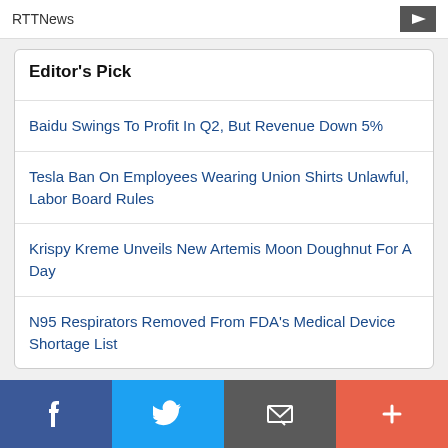RTTNews
Editor's Pick
Baidu Swings To Profit In Q2, But Revenue Down 5%
Tesla Ban On Employees Wearing Union Shirts Unlawful, Labor Board Rules
Krispy Kreme Unveils New Artemis Moon Doughnut For A Day
N95 Respirators Removed From FDA's Medical Device Shortage List